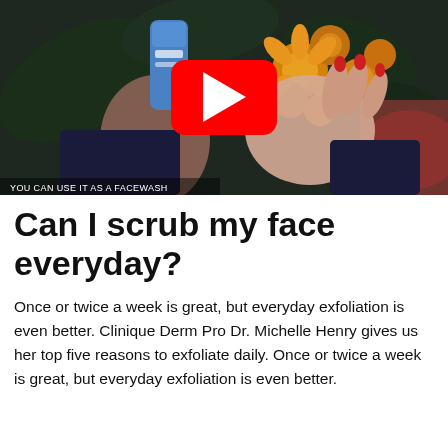[Figure (screenshot): YouTube video thumbnail showing two hands — one holding a blue Neutrogena face wash tube, the other open to receive product. Background is a dark floral fabric with orange and yellow flowers. A red YouTube play button is overlaid in the center. White text overlay at the bottom left reads 'YOU CAN USE IT AS A FACEWASH'.]
Can I scrub my face everyday?
Once or twice a week is great, but everyday exfoliation is even better. Clinique Derm Pro Dr. Michelle Henry gives us her top five reasons to exfoliate daily. Once or twice a week is great, but everyday exfoliation is even better.